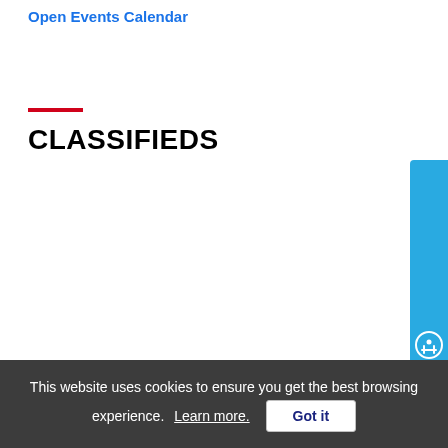Open Events Calendar
CLASSIFIEDS
This website uses cookies to ensure you get the best browsing experience. Learn more. Got it